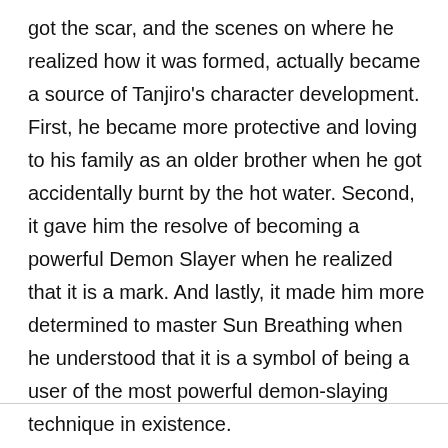got the scar, and the scenes on where he realized how it was formed, actually became a source of Tanjiro's character development. First, he became more protective and loving to his family as an older brother when he got accidentally burnt by the hot water. Second, it gave him the resolve of becoming a powerful Demon Slayer when he realized that it is a mark. And lastly, it made him more determined to master Sun Breathing when he understood that it is a symbol of being a user of the most powerful demon-slaying technique in existence.